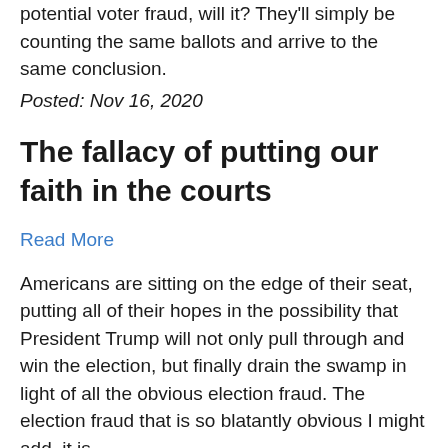potential voter fraud, will it? They'll simply be counting the same ballots and arrive to the same conclusion.
Posted: Nov 16, 2020
The fallacy of putting our faith in the courts
Read More
Americans are sitting on the edge of their seat, putting all of their hopes in the possibility that President Trump will not only pull through and win the election, but finally drain the swamp in light of all the obvious election fraud. The election fraud that is so blatantly obvious I might add, it is